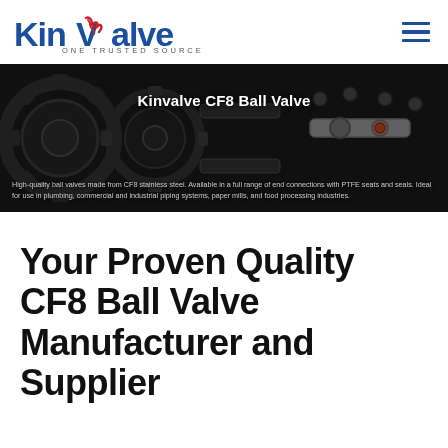KinValve ONE TRUSTED SOURCE
[Figure (photo): Industrial ball valve machinery photo used as hero banner background]
Kinvalve CF8 Ball Valve
High-quality ball valves made from CF8 stainless steel. Available in a full range of end connections with PTFE seats and seals. Ideal for use in plumbing, commercial and industrial piping systems, paper mills, and food processing industries.
Your Proven Quality CF8 Ball Valve Manufacturer and Supplier